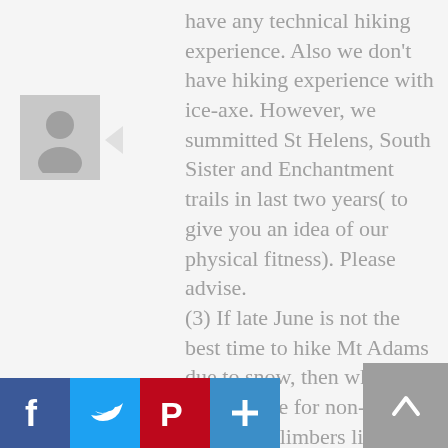have any technical hiking experience. Also we don't have hiking experience with ice-axe. However, we summitted St Helens, South Sister and Enchantment trails in last two years( to give you an idea of our physical fitness). Please advise.
(3) If late June is not the best time to hike Mt Adams due to snow, then what time is advisable for non-technical climbers like us?

Best-
[Figure (illustration): Gray avatar/user profile placeholder icon]
[Figure (infographic): Social share buttons: Facebook (blue f), Twitter (blue bird), Pinterest (red P), Add/More (blue +), and a scroll-to-top button (gray with up chevron)]